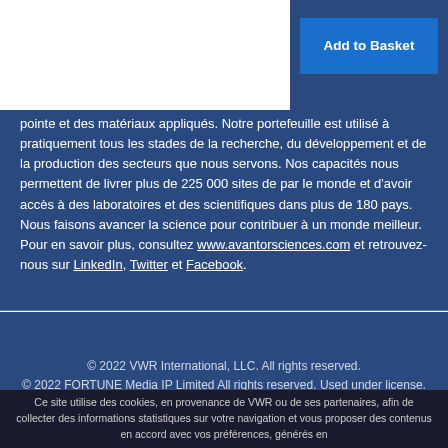[Figure (other): White redacted block covering top-left area of the page]
Add to Basket
pointe et des matériaux appliqués. Notre portefeuille est utilisé à pratiquement tous les stades de la recherche, du développement et de la production des secteurs que nous servons. Nos capacités nous permettent de livrer plus de 225 000 sites de par le monde et d'avoir accès à des laboratoires et des scientifiques dans plus de 180 pays. Nous faisons avancer la science pour contribuer à un monde meilleur. Pour en savoir plus, consultez www.avantorsciences.com et retrouvez-nous sur LinkedIn, Twitter et Facebook.
© 2022 VWR International, LLC. All rights reserved.
© 2022 FORTUNE Media IP Limited All rights reserved. Used under license.
Ce site utilise des cookies, en provenance de VWR ou de ses partenaires, afin de collecter des informations statistiques sur votre navigation et vous proposer des contenus en accord avec vos préférences, générés en